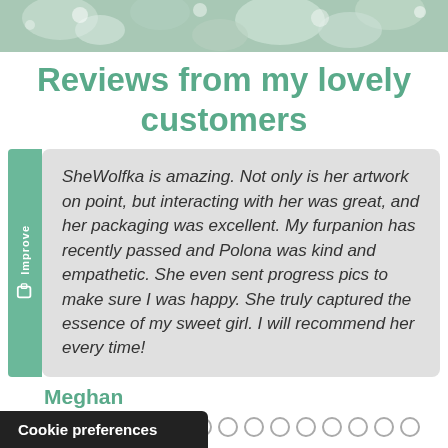[Figure (photo): Floral/nature photo banner at top of page]
Reviews from my lovely customers
SheWolfka is amazing. Not only is her artwork on point, but interacting with her was great, and her packaging was excellent. My furpanion has recently passed and Polona was kind and empathetic. She even sent progress pics to make sure I was happy. She truly captured the essence of my sweet girl. I will recommend her every time!
Meghan
[Figure (other): Pagination dots - one filled dark, rest empty circles, two rows]
Cookie preferences